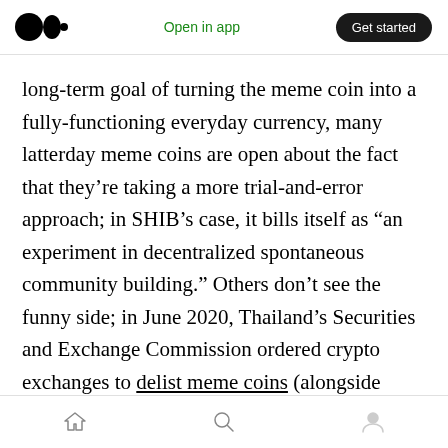Medium header — Open in app | Get started
long-term goal of turning the meme coin into a fully-functioning everyday currency, many latterday meme coins are open about the fact that they’re taking a more trial-and-error approach; in SHIB’s case, it bills itself as “an experiment in decentralized spontaneous community building.” Others don’t see the funny side; in June 2020, Thailand’s Securities and Exchange Commission ordered crypto exchanges to delist meme coins (alongside NFTs and social tokens), defining them as tokens that have “no clear objective or substance or underlying
Home | Search | Profile